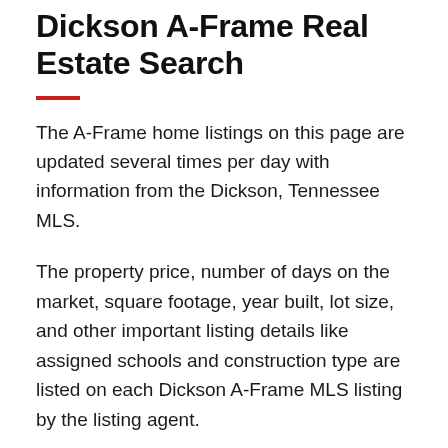Dickson A-Frame Real Estate Search
The A-Frame home listings on this page are updated several times per day with information from the Dickson, Tennessee MLS.
The property price, number of days on the market, square footage, year built, lot size, and other important listing details like assigned schools and construction type are listed on each Dickson A-Frame MLS listing by the listing agent.
Remember to review local Dickson A-Frame property tax information and if the current listing is active, under contract, and pending. Many properties have features such as greenbelt locations and swimming pools, and these will